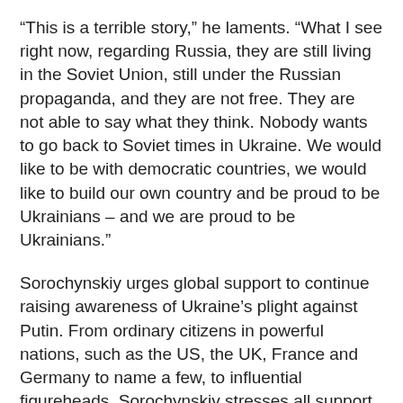“This is a terrible story,” he laments. “What I see right now, regarding Russia, they are still living in the Soviet Union, still under the Russian propaganda, and they are not free. They are not able to say what they think. Nobody wants to go back to Soviet times in Ukraine. We would like to be with democratic countries, we would like to build our own country and be proud to be Ukrainians – and we are proud to be Ukrainians.”
Sorochynskiy urges global support to continue raising awareness of Ukraine’s plight against Putin. From ordinary citizens in powerful nations, such as the US, the UK, France and Germany to name a few, to influential figureheads, Sorochynskiy stresses all support is appreciated, and imperative if Ukraine is to succeed in its defence.